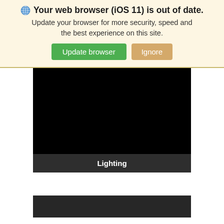Your web browser (iOS 11) is out of date.
Update your browser for more security, speed and the best experience on this site.
[Figure (screenshot): A browser update notification banner with a globe icon, bold title 'Your web browser (iOS 11) is out of date.', subtitle text, and two buttons: green 'Update browser' and tan 'Ignore']
[Figure (screenshot): A black video player area with a dark gray caption bar at the bottom showing 'Lighting' in white bold text]
[Figure (screenshot): A dark gray/black bar at the bottom of the page, partial view of another video block]